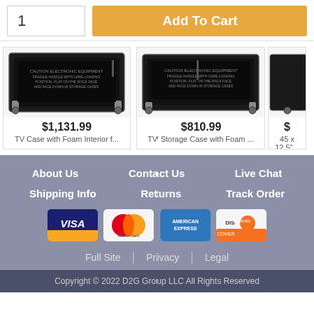1
Add To Cart
[Figure (photo): Black TV flight case with wheels and metal hardware]
$1,131.99
TV Case with Foam Interior f...
[Figure (photo): Black TV storage case with foam, wheels and metal hardware]
$810.99
TV Storage Case with Foam ...
$
45 x 12.5"...
About Us
Contact Us
Live Chat
Shipping Info
Returns
Track Order
[Figure (other): Payment icons: Visa, MasterCard, American Express, Discover]
Full Site
Privacy
Legal
Copyright © 2022 D2G Group LLC All Rights Reserved